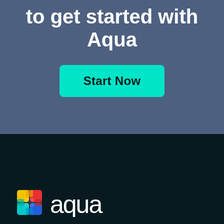to get started with Aqua
[Figure (illustration): Cyan/teal 'Start Now' call-to-action button on a slate-blue background]
[Figure (logo): Aqua Security logo: colorful square icon made of overlapping colored quadrants (red, yellow, blue, green, cyan) next to the word 'aqua' in white rounded lettering, on a dark navy background]